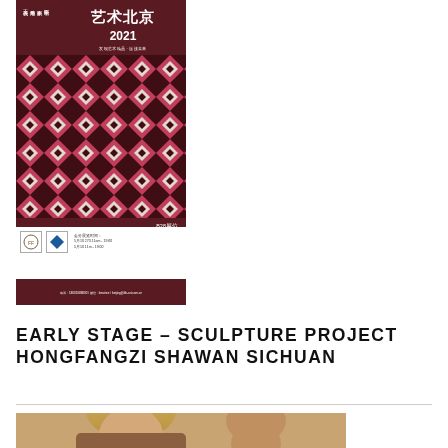[Figure (illustration): A dark red/maroon Chinese art fair poster for 艺术北京 2021 (Art Beijing 2021) with a geometric diamond/chevron pattern in dark red, pink, and white. Contains Chinese text, event details, logos, and contact info.]
EARLY STAGE – SCULPTURE PROJECT HONGFANGZI SHAWAN SICHUAN
[Figure (photo): Partial photo of a person (appears to be a woman with blonde hair) at the bottom of the page, cropped.]